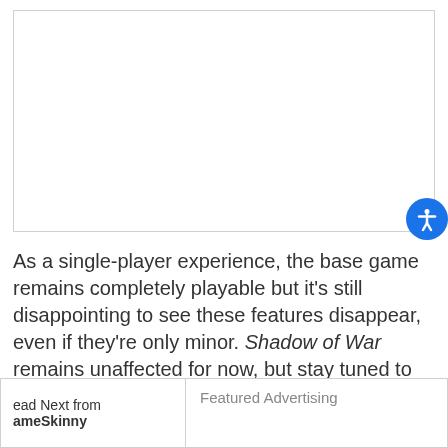[Figure (other): White image/video area with border]
As a single-player experience, the base game remains completely playable but it's still disappointing to see these features disappear, even if they're only minor. Shadow of War remains unaffected for now, but stay tuned to GameSkinny for any further updates.
ead Next from
ameSkinny
Featured Advertising